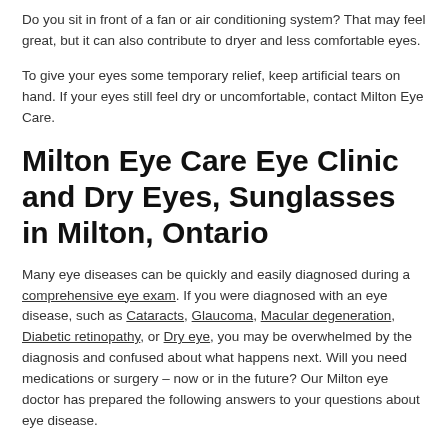Do you sit in front of a fan or air conditioning system? That may feel great, but it can also contribute to dryer and less comfortable eyes.
To give your eyes some temporary relief, keep artificial tears on hand. If your eyes still feel dry or uncomfortable, contact Milton Eye Care.
Milton Eye Care Eye Clinic and Dry Eyes, Sunglasses in Milton, Ontario
Many eye diseases can be quickly and easily diagnosed during a comprehensive eye exam. If you were diagnosed with an eye disease, such as Cataracts, Glaucoma, Macular degeneration, Diabetic retinopathy, or Dry eye, you may be overwhelmed by the diagnosis and confused about what happens next. Will you need medications or surgery – now or in the future? Our Milton eye doctor has prepared the following answers to your questions about eye disease.